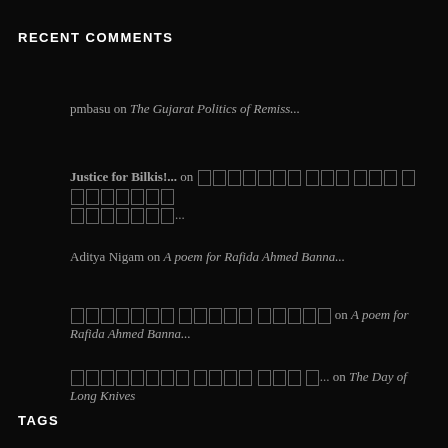RECENT COMMENTS
pmbasu on The Gujarat Politics of Remiss...
Justice for Bilkis!... on [non-Latin script text]...
Aditya Nigam on A poem for Rafida Ahmed Banna...
[non-Latin script text] on A poem for Rafida Ahmed Banna...
[non-Latin script text]... on The Day of Long Knives
TAGS